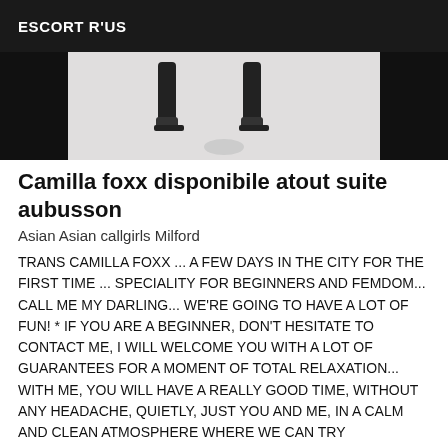ESCORT R'US
[Figure (photo): Partial photo of a person's legs/feet with high heels, cropped, with black bars on left and right sides]
Camilla foxx disponibile atout suite aubusson
Asian Asian callgirls Milford
TRANS CAMILLA FOXX ... A FEW DAYS IN THE CITY FOR THE FIRST TIME ... SPECIALITY FOR BEGINNERS AND FEMDOM... CALL ME MY DARLING... WE'RE GOING TO HAVE A LOT OF FUN! * IF YOU ARE A BEGINNER, DON'T HESITATE TO CONTACT ME, I WILL WELCOME YOU WITH A LOT OF GUARANTEES FOR A MOMENT OF TOTAL RELAXATION... WITH ME, YOU WILL HAVE A REALLY GOOD TIME, WITHOUT ANY HEADACHE, QUIETLY, JUST YOU AND ME, IN A CALM AND CLEAN ATMOSPHERE WHERE WE CAN TRY EVERYTHING